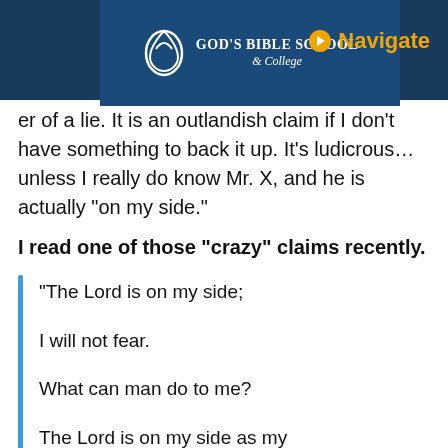God's Bible School & College — Navigate
er of a lie. It is an outlandish claim if I don't have something to back it up. It's ludicrous...unless I really do know Mr. X, and he is actually “on my side.”
I read one of those “crazy” claims recently.
“The Lord is on my side;

I will not fear.

What can man do to me?

The Lord is on my side as my